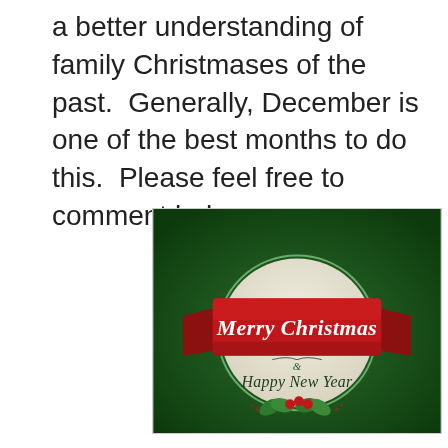a better understanding of family Christmases of the past.  Generally, December is one of the best months to do this.  Please feel free to comment below.
[Figure (illustration): Christmas greeting card illustration on dark green background. Features a circular emblem with a red ribbon/banner across it reading 'Merry Christmas' in white italic script, and below the banner '& Happy New Year' in dark green italic script, with holly leaves and red berries at the bottom of the circle.]